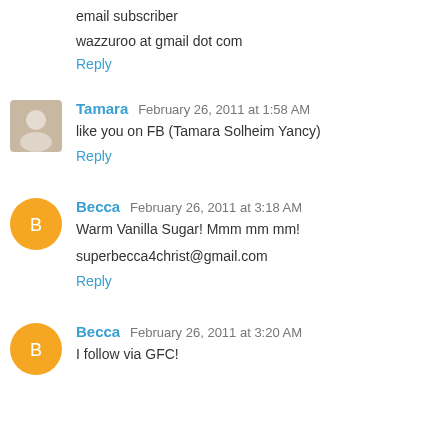email subscriber
wazzuroo at gmail dot com
Reply
Tamara  February 26, 2011 at 1:58 AM
like you on FB (Tamara Solheim Yancy)
Reply
Becca  February 26, 2011 at 3:18 AM
Warm Vanilla Sugar! Mmm mm mm!

superbecca4christ@gmail.com
Reply
Becca  February 26, 2011 at 3:20 AM
I follow via GFC!